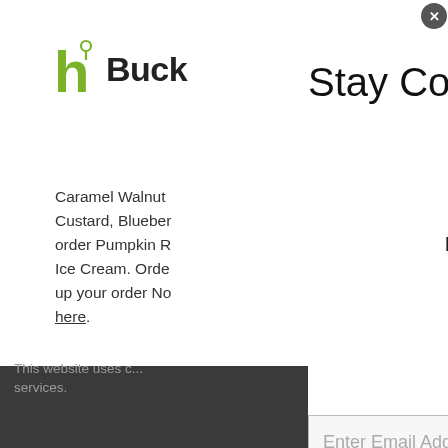[Figure (logo): Happening in Bucks County logo - stylized h with pin icon and text 'Buck' visible]
Caramel Walnut, Custard, Blueberry, order Pumpkin R... Ice Cream. Order... up your order No... here.
Solly Farm
707 Almhouse Rd
215-357-2850
Solly Farm offers
This website uses c... services.
Stay Connected
Every month, we send an email with everything HAPPENING in Bucks County.  Enter your email to join in the fun!
Enter Email Address